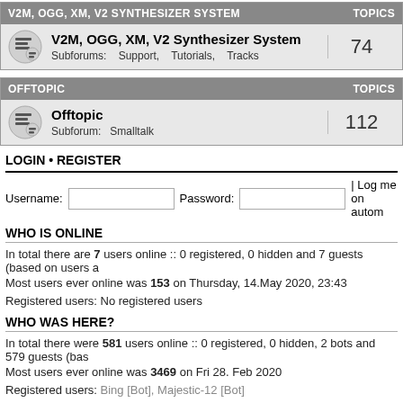| V2M, OGG, XM, V2 SYNTHESIZER SYSTEM | TOPICS |
| --- | --- |
| V2M, OGG, XM, V2 Synthesizer System
Subforums: Support, Tutorials, Tracks | 74 |
| OFFTOPIC | TOPICS |
| --- | --- |
| Offtopic
Subforum: Smalltalk | 112 |
LOGIN • REGISTER
Username: [input] Password: [input] | Log me on autom
WHO IS ONLINE
In total there are 7 users online :: 0 registered, 0 hidden and 7 guests (based on users a
Most users ever online was 153 on Thursday, 14.May 2020, 23:43
Registered users: No registered users
WHO WAS HERE?
In total there were 581 users online :: 0 registered, 0 hidden, 2 bots and 579 guests (bas
Most users ever online was 3469 on Fri 28. Feb 2020
Registered users: Bing [Bot], Majestic-12 [Bot]
STATISTICS